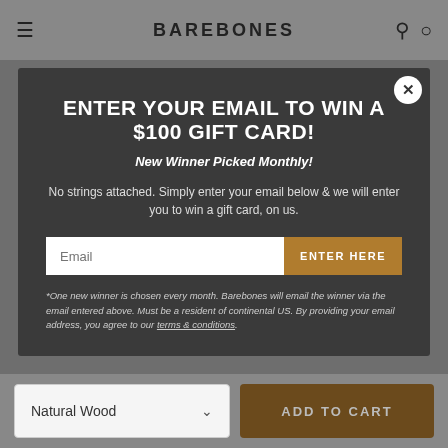BAREBONES
ENTER YOUR EMAIL TO WIN A $100 GIFT CARD!
New Winner Picked Monthly!
No strings attached. Simply enter your email below & we will enter you to win a gift card, on us.
Email | ENTER HERE
*One new winner is chosen every month. Barebones will email the winner via the email entered above. Must be a resident of continental US. By providing your email address, you agree to our terms & conditions.
Natural Wood | ADD TO CART